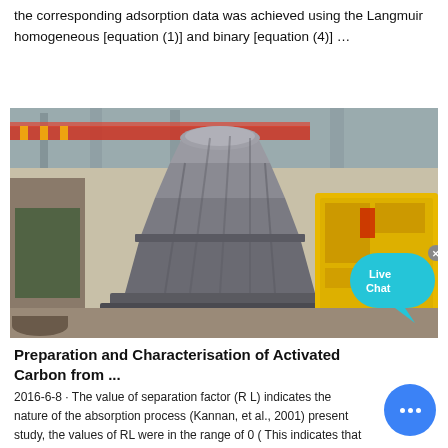the corresponding adsorption data was achieved using the Langmuir homogeneous [equation (1)] and binary [equation (4)] …
[Figure (photo): Industrial machinery in a factory setting — large grey cone-shaped crusher/mill equipment on a metal base, with yellow machinery visible in background, overhead cranes and steel structure visible.]
Preparation and Characterisation of Activated Carbon from ...
2016-6-8 · The value of separation factor (R L) indicates the nature of the absorption process (Kannan, et al., 2001) present study, the values of RL were in the range of 0 ( This indicates that the Langmuir isotherm was favourable fo...